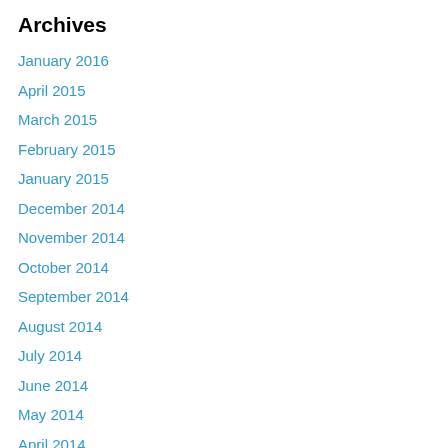Archives
January 2016
April 2015
March 2015
February 2015
January 2015
December 2014
November 2014
October 2014
September 2014
August 2014
July 2014
June 2014
May 2014
April 2014
March 2014
February 2014
January 2014
December 2013